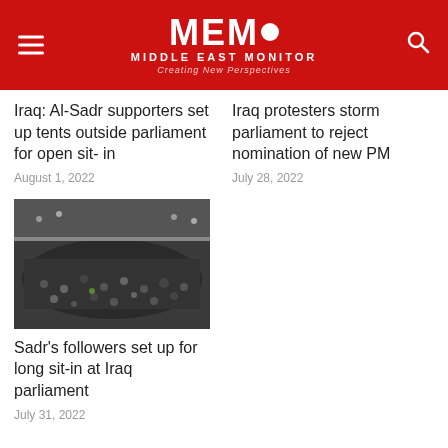MEMO MIDDLE EAST MONITOR Creating New Perspectives
Iraq: Al-Sadr supporters set up tents outside parliament for open sit-in
August 1, 2022
Iraq protesters storm parliament to reject nomination of new PM
July 28, 2022
[Figure (photo): Crowd of protesters inside a large hall/parliament building]
Sadr's followers set up for long sit-in at Iraq parliament
July 31, 2022